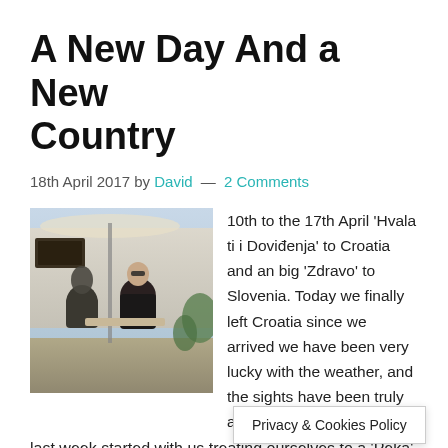A New Day And a New Country
18th April 2017 by David — 2 Comments
[Figure (photo): A man in a black shirt and sunglasses sitting next to a bronze statue at an outdoor café in Croatia]
10th to the 17th April 'Hvala ti i Doviđenja' to Croatia and an big 'Zdravo' to Slovenia. Today we finally left Croatia since we arrived we have been very lucky with the weather, and the sights have been truly amazing. Our last week started with us treating ourselves to a 'Peka' in a very traditional restaurant in Zagreb. A 'peka' is a veal and lamb stew cooked i
Privacy & Cookies Policy